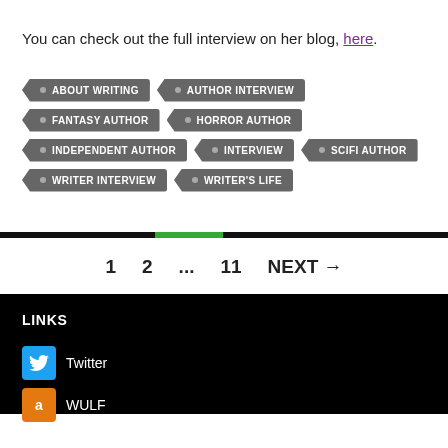You can check out the full interview on her blog, here.
ABOUT WRITING
AUTHOR INTERVIEW
FANTASY AUTHOR
HORROR AUTHOR
INDEPENDENT AUTHOR
INTERVIEW
SCIFI AUTHOR
WRITER INTERVIEW
WRITER'S LIFE
1   2   ...   11   NEXT →
LINKS
Twitter
WULF